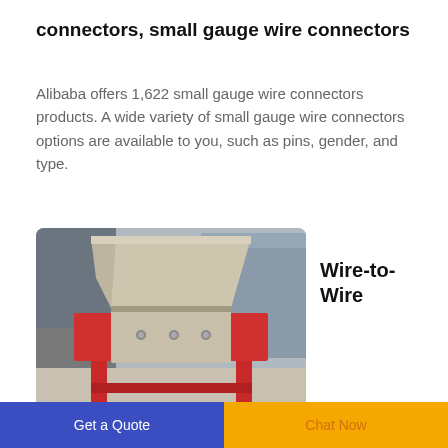connectors, small gauge wire connectors
Alibaba offers 1,622 small gauge wire connectors products. A wide variety of small gauge wire connectors options are available to you, such as pins, gender, and type.
[Figure (photo): Industrial machine, appears to be a shredder or crusher with a red metal frame and beige/tan hopper, photographed outdoors.]
Wire-to-Wire
ConnectorsMolex Electronic Solutions
Get a Quote  Chat Now